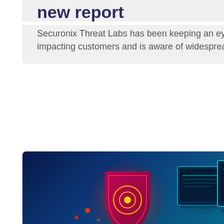new report
Securonix Threat Labs has been keeping an eye on each and every threat impacting customers and is aware of widespread campaigns.
[Figure (illustration): Isometric cybersecurity illustration showing a glowing red shield with a target/eye symbol on the left and multiple teal-colored monitors and laptops displaying code/data on the right, set against a dark blue background.]
TESTING
Kaspersky achieves AAA expert rating for EDR products
Independent security testing